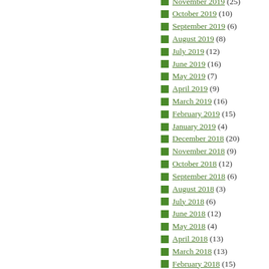November 2019 (25)
October 2019 (10)
September 2019 (6)
August 2019 (8)
July 2019 (12)
June 2019 (16)
May 2019 (7)
April 2019 (9)
March 2019 (16)
February 2019 (15)
January 2019 (4)
December 2018 (20)
November 2018 (9)
October 2018 (12)
September 2018 (6)
August 2018 (3)
July 2018 (6)
June 2018 (12)
May 2018 (4)
April 2018 (13)
March 2018 (13)
February 2018 (15)
January 2018 (12)
December 2017 (9)
November 2017 (9)
October 2017 (7)